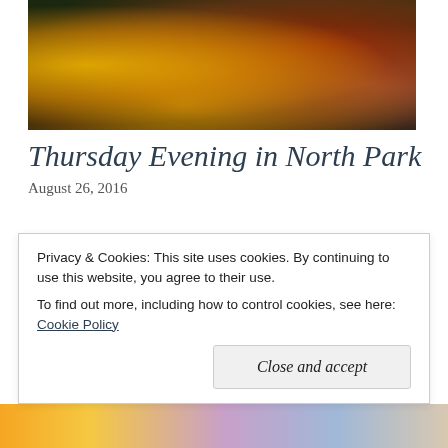[Figure (photo): Close-up photo of yellow and orange flowers (sunflowers, marigolds) on a dark background with some pink/red flowers visible on the right side]
Thursday Evening in North Park
August 26, 2016
After an exhausting work week, last night seemed like the perfect time to get out of the house for some fresh air and to explore our city. Mike and I have lived in
Privacy & Cookies: This site uses cookies. By continuing to use this website, you agree to their use.
To find out more, including how to control cookies, see here: Cookie Policy
Close and accept